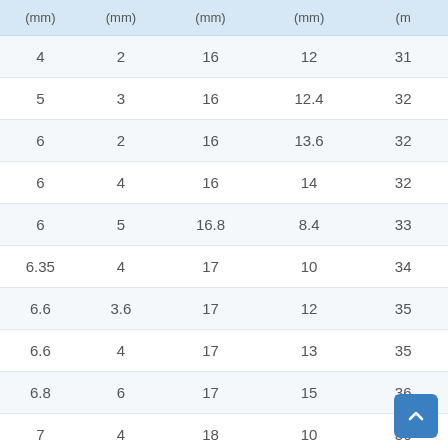| (mm) | (mm) | (mm) | (mm) | (m… |
| --- | --- | --- | --- | --- |
| 4 | 2 | 16 | 12 | 31… |
| 5 | 3 | 16 | 12.4 | 32… |
| 6 | 2 | 16 | 13.6 | 32… |
| 6 | 4 | 16 | 14 | 32… |
| 6 | 5 | 16.8 | 8.4 | 33… |
| 6.35 | 4 | 17 | 10 | 34… |
| 6.6 | 3.6 | 17 | 12 | 35… |
| 6.6 | 4 | 17 | 13 | 35… |
| 6.8 | 6 | 17 | 15 | 36… |
| 7 | 4 | 18 | 10 | 36… |
| 7 | 5 | 18 | 10… | … |